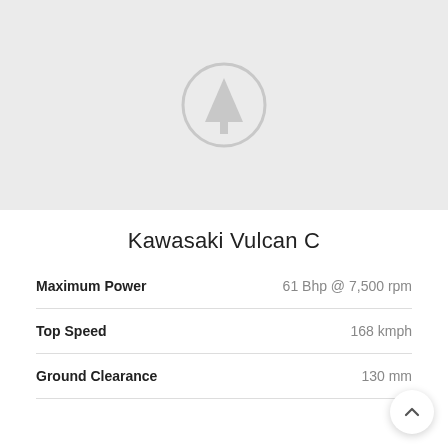[Figure (photo): Placeholder image area with a light gray background and a tree/navigation icon in the center]
Kawasaki Vulcan C
| Specification | Value |
| --- | --- |
| Maximum Power | 61 Bhp @ 7,500 rpm |
| Top Speed | 168 kmph |
| Ground Clearance | 130 mm |